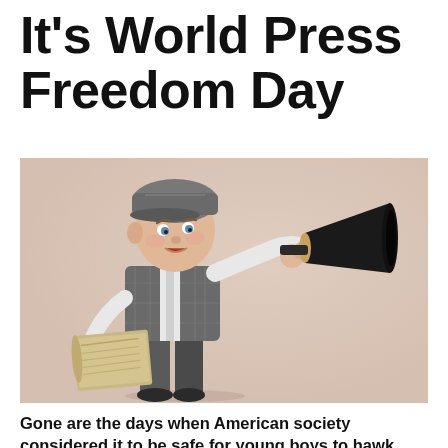It's World Press Freedom Day
[Figure (photo): A young toddler boy dressed in a grey flat cap, grey vest, and white shirt, holding a vintage black megaphone to his mouth and a rolled newspaper under his arm, photographed against a light beige/blush background.]
Gone are the days when American society considered it to be safe for young boys to hawk newspapers on the streets.